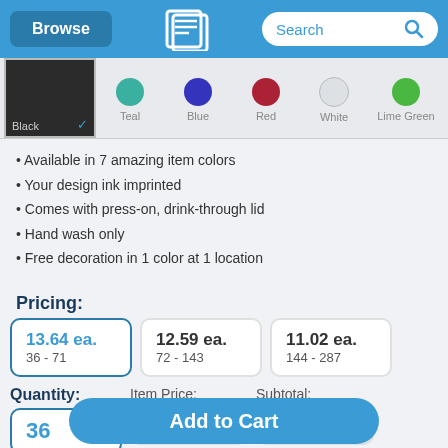Browse | [Logo] | Search
[Figure (illustration): Color swatches row showing Black (selected with checkmark), Teal, Blue, Red, White, Lime Green color options]
Available in 7 amazing item colors
Your design ink imprinted
Comes with press-on, drink-through lid
Hand wash only
Free decoration in 1 color at 1 location
Pricing:
| Price | Quantity Range |
| --- | --- |
| 13.64 ea. | 36 - 71 |
| 12.59 ea. | 72 - 143 |
| 11.02 ea. | 144 - 287 |
| Quantity | Item Price | Subtotal |
| --- | --- | --- |
| 36 | $13.64 | $491.04 |